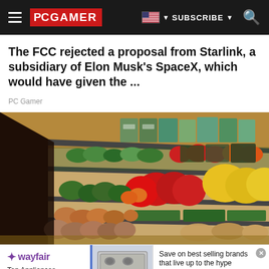PC GAMER | SUBSCRIBE | Search
The FCC rejected a proposal from Starlink, a subsidiary of Elon Musk's SpaceX, which would have given the ...
PC Gamer
[Figure (photo): Grocery store produce aisle with colorful vegetables and fruits on shelves including red peppers, yellow peppers, green vegetables, and root vegetables.]
[Figure (infographic): Wayfair advertisement banner: Top Appliances Low Prices with appliance image, Save on best selling brands that live up to the hype, Shop now button]